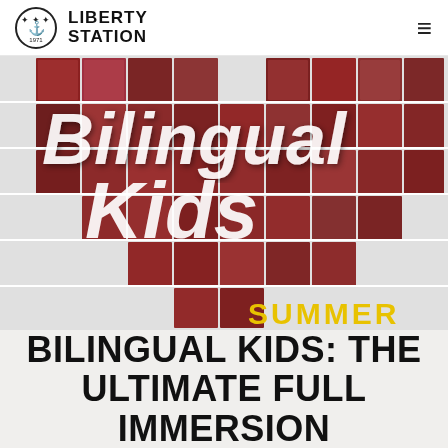LIBERTY STATION
[Figure (photo): A heart-shaped collage of children wearing red shirts, with 'Bilingual Kids' script overlay in white and 'SUMMER' in yellow at the bottom right]
BILINGUAL KIDS: THE ULTIMATE FULL IMMERSION